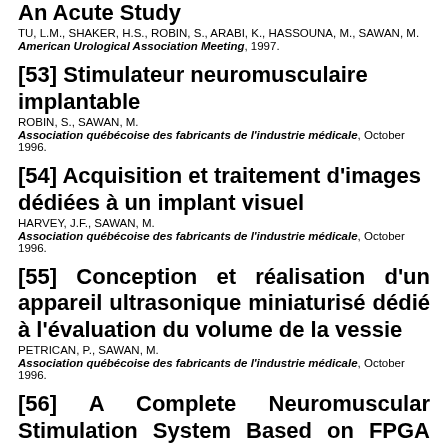An Acute Study
TU, L.M., SHAKER, H.S., ROBIN, S., ARABI, K., HASSOUNA, M., SAWAN, M.
American Urological Association Meeting, 1997.
[53] Stimulateur neuromusculaire implantable
ROBIN, S., SAWAN, M.
Association québécoise des fabricants de l'industrie médicale, October 1996.
[54] Acquisition et traitement d'images dédiées à un implant visuel
HARVEY, J.F., SAWAN, M.
Association québécoise des fabricants de l'industrie médicale, October 1996.
[55] Conception et réalisation d'un appareil ultrasonique miniaturisé dédié à l'évaluation du volume de la vessie
PETRICAN, P., SAWAN, M.
Association québécoise des fabricants de l'industrie médicale, October 1996.
[56] A Complete Neuromuscular Stimulation System Based on FPGA Technology
ROBIN, S., PROVOST, B., SAWAN, M.
CMC'96, Ottawa, June 1996.